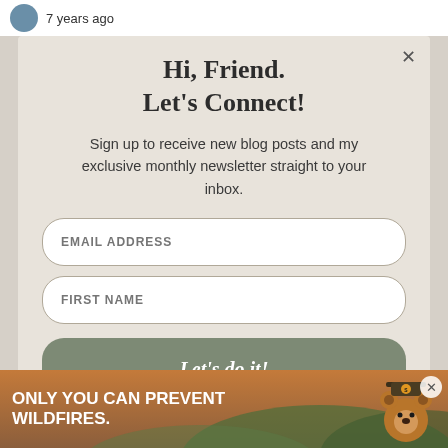7 years ago
Hi, Friend.
Let's Connect!
Sign up to receive new blog posts and my exclusive monthly newsletter straight to your inbox.
EMAIL ADDRESS
FIRST NAME
Let's do it!
[Figure (infographic): Smokey Bear ad banner: ONLY YOU CAN PREVENT WILDFIRES. with Smokey Bear character on the right.]